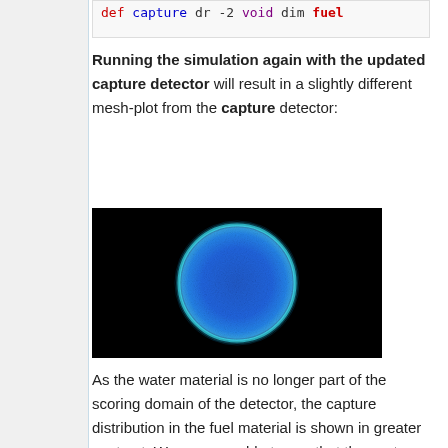def capture dr -2 void dim fuel
Running the simulation again with the updated capture detector will result in a slightly different mesh-plot from the capture detector:
[Figure (photo): Black background simulation mesh-plot showing a circular fuel region glowing blue/cyan, representing the capture distribution in the fuel material.]
As the water material is no longer part of the scoring domain of the detector, the capture distribution in the fuel material is shown in greater contrast. We are now able to see that the capture rate is at its